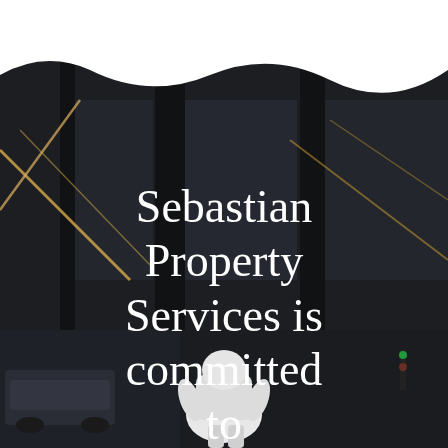[Figure (photo): Night cityscape photo showing a person in white protective suit/hazmat gear bent over near large glass windows of a building, with reflections of lights and city street visible]
Sebastian Property Services is committed to partnering